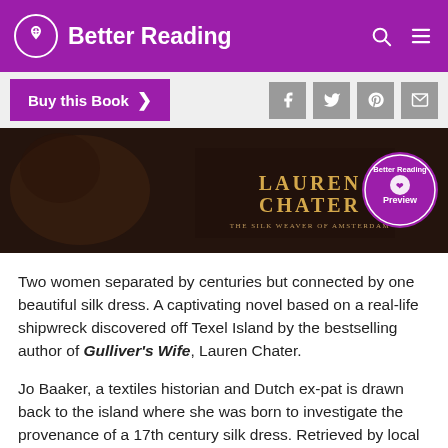Better Reading
[Figure (screenshot): Better Reading website header with purple background, circular logo with heart/leaf icon, site title 'Better Reading', and search/menu icons on the right]
[Figure (screenshot): Purple 'Buy this Book >' button on left, four social media icon buttons (Facebook, Twitter, Pinterest, Email) in grey on right]
[Figure (photo): Dark book cover banner showing 'LAUREN CHATER' text with a 'Better Reading Preview' circular badge on the right side]
Two women separated by centuries but connected by one beautiful silk dress. A captivating novel based on a real-life shipwreck discovered off Texel Island by the bestselling author of Gulliver's Wife, Lauren Chater.
Jo Baaker, a textiles historian and Dutch ex-pat is drawn back to the island where she was born to investigate the provenance of a 17th century silk dress. Retrieved by local divers from a sunken shipwreck, the dress offers tantalising clues about the way people lived and died during Holland's famous Golden Age.